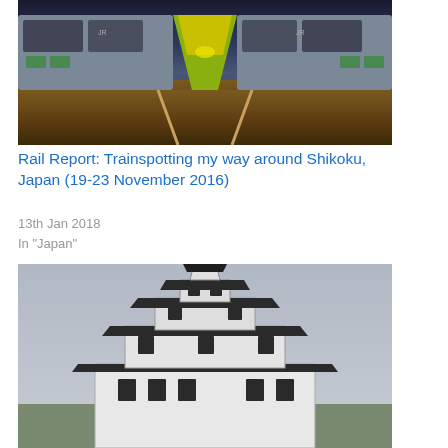[Figure (photo): Two Japanese trains meeting nose-to-nose at a station or rail yard. One is yellow-green with an aerodynamic nose (likely an express or limited express train), the other is a gray local train with JR markings. The scene is shot from track level with warm amber/orange light on the ground, suggesting dusk or artificial lighting.]
Rail Report: Trainspotting my way around Shikoku, Japan (19-23 November 2016)
13th Jan 2018
In "Japan"
[Figure (photo): A traditional Japanese castle (likely Kochi Castle) photographed from below against an overcast gray sky. The white-walled multi-tiered castle structure with dark curved roofs is shown prominently, with the main keep and lower roof tiers visible.]